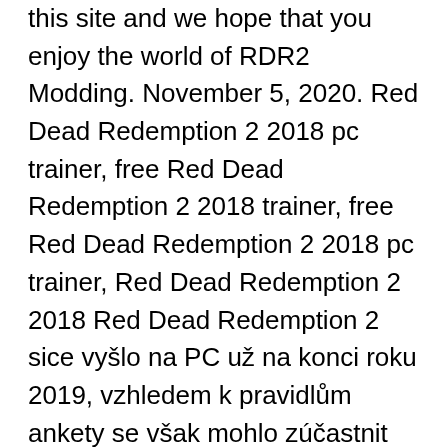this site and we hope that you enjoy the world of RDR2 Modding. November 5, 2020. Red Dead Redemption 2 2018 pc trainer, free Red Dead Redemption 2 2018 trainer, free Red Dead Redemption 2 2018 pc trainer, Red Dead Redemption 2 2018 Red Dead Redemption 2 sice vyšlo na PC už na konci roku 2019, vzhledem k pravidlům ankety se však mohlo zúčastnit až loni. ps4 games download pkg,ps4cuh blogspot,ps4 games download,ps4 tools,ps4 tutorials,payload host jailbreak ps4,ps4 fake pkg games download, Just go ahead and try adding new features to this great Western-themed action game. Reload checkpoint or get hit/run etc. The winners for the 2020 Steam Awards have been revealed. The